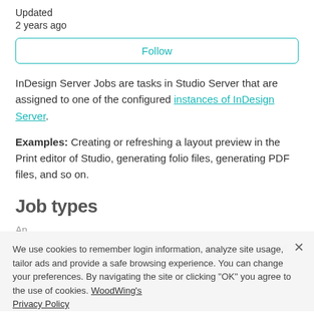Updated
2 years ago
Follow
InDesign Server Jobs are tasks in Studio Server that are assigned to one of the configured instances of InDesign Server.
Examples: Creating or refreshing a layout preview in the Print editor of Studio, generating folio files, generating PDF files, and so on.
Job types
An... (background text)
Foreground job. These have priority over Background jobs and... (available) will be processed. The Print editor of Studio for example uses this job to create previews.
We use cookies to remember login information, analyze site usage, tailor ads and provide a safe browsing experience. You can change your preferences. By navigating the site or clicking 'OK' you agree to the use of cookies. WoodWing's Privacy Policy